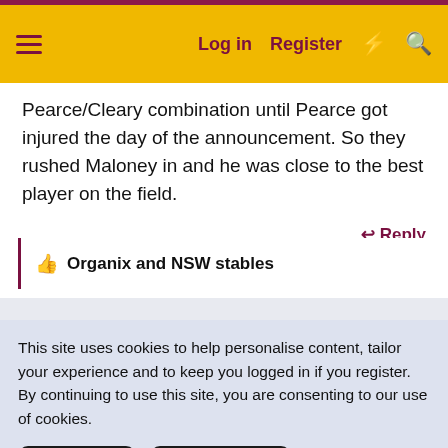Log in  Register
Pearce/Cleary combination until Pearce got injured the day of the announcement. So they rushed Maloney in and he was close to the best player on the field.
Reply
👍 Organix and NSW stables
This site uses cookies to help personalise content, tailor your experience and to keep you logged in if you register.
By continuing to use this site, you are consenting to our use of cookies.